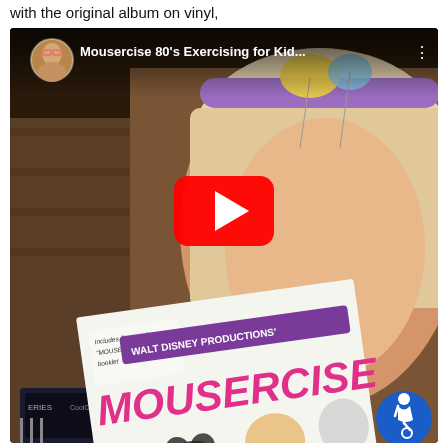with the original album on vinyl,
[Figure (screenshot): YouTube video thumbnail showing a young blonde girl wearing a colorful headband with mouse ears, holding a Walt Disney Productions Mousercise vinyl album cover. The video title reads 'Mousercise 80's Exercising for Kid...' with a red YouTube play button in the center and an accessibility icon in the bottom right corner.]